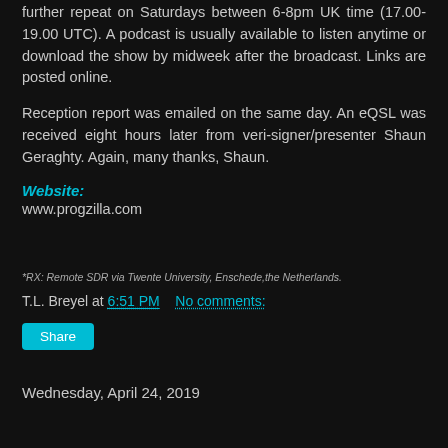further repeat on Saturdays between 6-8pm UK time (17.00-19.00 UTC). A podcast is usually available to listen anytime or download the show by midweek after the broadcast. Links are posted online.
Reception report was emailed on the same day. An eQSL was received eight hours later from veri-signer/presenter Shaun Geraghty. Again, many thanks, Shaun.
Website:
www.progzilla.com
*RX: Remote SDR via Twente University, Enschede, the Netherlands.
T.L. Breyel at 6:51 PM    No comments:
Share
Wednesday, April 24, 2019